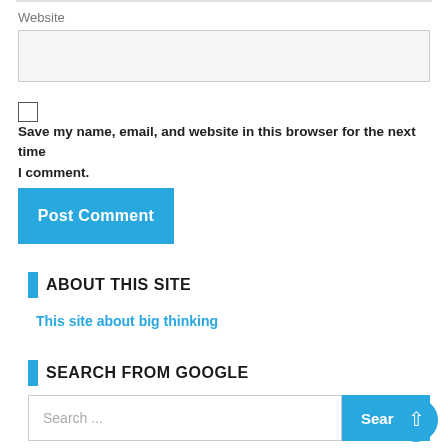Website
Save my name, email, and website in this browser for the next time I comment.
Post Comment
ABOUT THIS SITE
This site about big thinking
SEARCH FROM GOOGLE
Search ...
Search